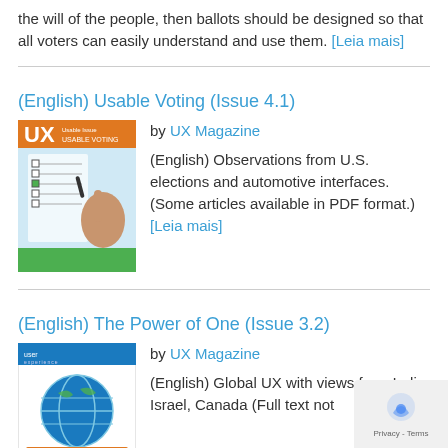the will of the people, then ballots should be designed so that all voters can easily understand and use them. [Leia mais]
(English) Usable Voting (Issue 4.1)
[Figure (illustration): UX Magazine cover for Usable Voting Issue 4.1 showing a hand filling out a ballot]
by UX Magazine
(English) Observations from U.S. elections and automotive interfaces. (Some articles available in PDF format.) [Leia mais]
(English) The Power of One (Issue 3.2)
[Figure (illustration): UX Magazine cover for The Power of One Issue 3.2 showing a globe]
by UX Magazine
(English) Global UX with views from India, Israel, Canada (Full text not